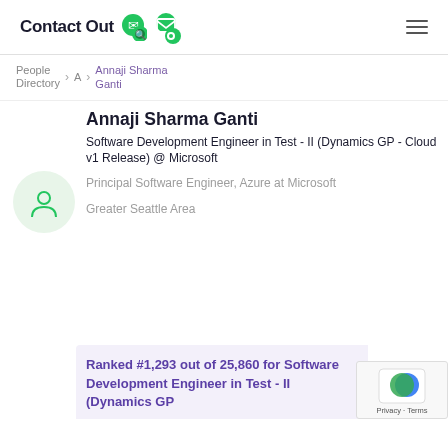ContactOut
People Directory > A > Annaji Sharma Ganti
Annaji Sharma Ganti
Software Development Engineer in Test - II (Dynamics GP - Cloud v1 Release) @ Microsoft
Principal Software Engineer, Azure at Microsoft
Greater Seattle Area
Ranked #1,293 out of 25,860 for Software Development Engineer in Test - II (Dynamics GP